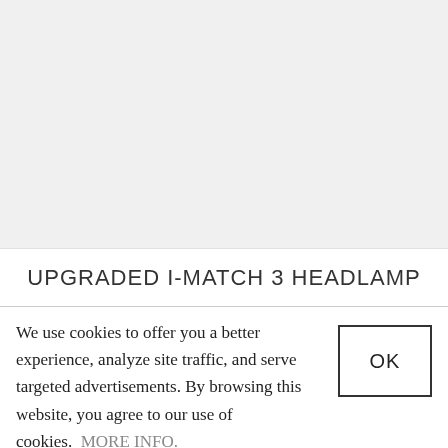[Figure (photo): Top portion of a webpage showing a product image area (light gray background), partially cut off.]
UPGRADED I-MATCH 3 HEADLAMP
We use cookies to offer you a better experience, analyze site traffic, and serve targeted advertisements. By browsing this website, you agree to our use of cookies.  MORE INFO.